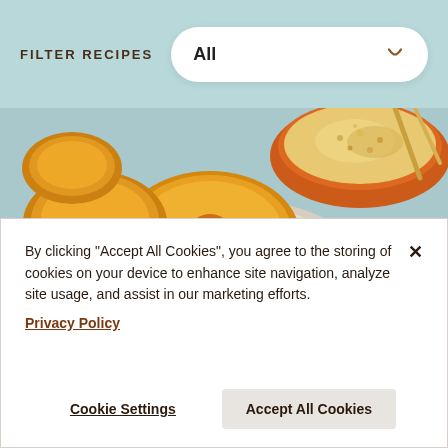FILTER RECIPES
All
[Figure (photo): Overhead photo of golden toasted bagel chips and crackers on a speckled ceramic plate, with an orange bowl of dip in the background and a second plate with a wedge topped with cheese and herbs, on a light blue background.]
By clicking "Accept All Cookies", you agree to the storing of cookies on your device to enhance site navigation, analyze site usage, and assist in our marketing efforts.
Privacy Policy
Cookie Settings
Accept All Cookies